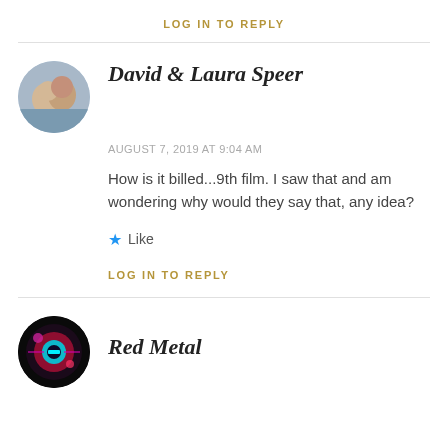LOG IN TO REPLY
David & Laura Speer
AUGUST 7, 2019 AT 9:04 AM
How is it billed...9th film. I saw that and am wondering why would they say that, any idea?
Like
LOG IN TO REPLY
Red Metal